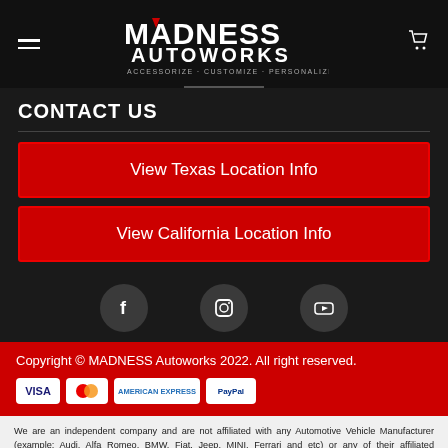MADNESS AUTOWORKS — ACCESSORIZE · CUSTOMIZE · PERSONALIZE
CONTACT US
View Texas Location Info
View California Location Info
[Figure (logo): Social media icons: Facebook, Instagram, YouTube]
Copyright © MADNESS Autoworks 2022. All right reserved.
We are an independent company and are not affiliated with any Automotive Vehicle Manufacturer (example: Audi, Alfa Romeo, BMW, Fiat, Jeep, MINI, Ferrari and etc) or any of their affiliated companies. Any references herein to vehicles or parts manufactured, distributed, or sold by them are done only to identify those vehicles for which we provide aftermarket parts or services or parts